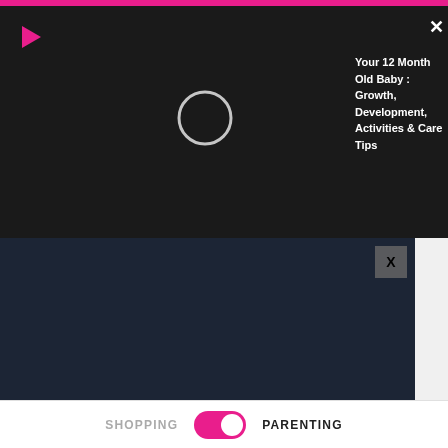[Figure (screenshot): Pink top navigation bar of a website/app]
[Figure (screenshot): Black video player panel showing a loading circle and video title 'Your 12 Month Old Baby : Growth, Development, Activities & Care Tips' with a pink play icon and X close button]
Your 12 Month Old Baby : Growth, Development, Activities & Care Tips
[Figure (photo): Close-up photo of a hand holding a red sugary gummy candy against a dark background, with an X close button overlay]
Virginia Legalizes New Pain Reliever That Seniors Say is '3x More Powerful'
Health H...
[Figure (screenshot): Ad bar showing: play icon, green plus circle icon, green checkmark, 'In-store shopping' text, blue diamond arrow icon, and an X close]
In-store shopping
SHOPPING
PARENTING